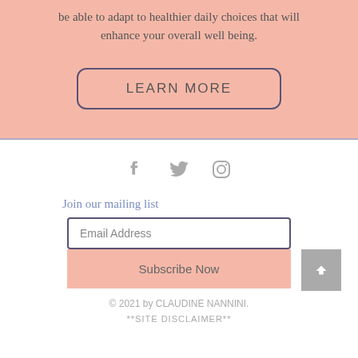be able to adapt to healthier daily choices that will enhance your overall well being.
LEARN MORE
[Figure (illustration): Social media icons: Facebook, Twitter, Instagram in gray]
Join our mailing list
Email Address
Subscribe Now
© 2021 by CLAUDINE NANNINI.
**SITE DISCLAIMER**